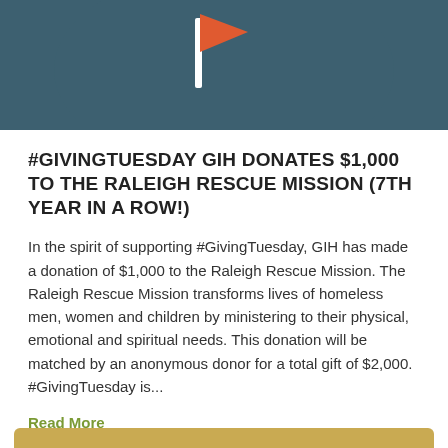[Figure (illustration): Partial circular illustration with dark teal background showing a white and orange flag/pennant icon at the top center, representing GivingTuesday branding.]
#GIVINGTUESDAY GIH DONATES $1,000 TO THE RALEIGH RESCUE MISSION (7TH YEAR IN A ROW!)
In the spirit of supporting #GivingTuesday, GIH has made a donation of $1,000 to the Raleigh Rescue Mission. The Raleigh Rescue Mission transforms lives of homeless men, women and children by ministering to their physical, emotional and spiritual needs. This donation will be matched by an anonymous donor for a total gift of $2,000. #GivingTuesday is...
Read More